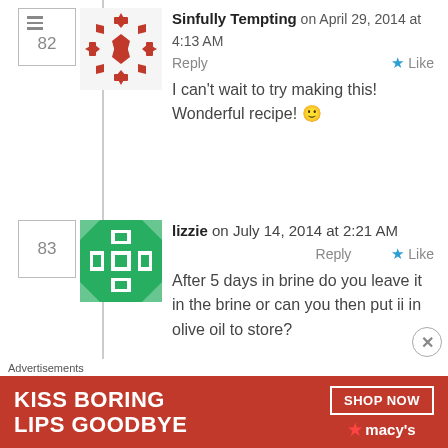Sinfully Tempting on April 29, 2014 at 4:13 AM  Reply  Like
I can't wait to try making this! Wonderful recipe! 🙂
lizzie on July 14, 2014 at 2:21 AM  Reply  Like
After 5 days in brine do you leave it in the brine or can you then put ii in olive oil to store?
Sawsan@ Chef in disguise on
[Figure (screenshot): Advertisement banner: KISS BORING LIPS GOODBYE — SHOP NOW — macys]
Advertisements